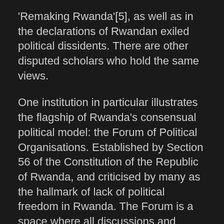'Remaking Rwanda'[5], as well as in the declarations of Rwandan exiled political dissidents. There are other disputed scholars who hold the same views.
One institution in particular illustrates the flagship of Rwanda's consensual political model: the Forum of Political Organisations. Established by Section 56 of the Constitution of the Republic of Rwanda, and criticised by many as the hallmark of lack of political freedom in Rwanda. The Forum is a space where all discussions and debates between political parties are held, shielded from the public. It draws its essence in the 'Fundamental Principles' in Section 9(6) of the Constitution.